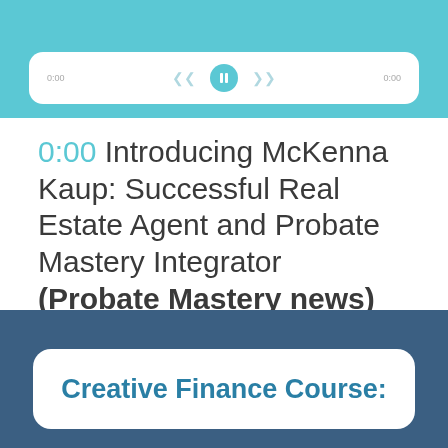[Figure (screenshot): Audio player bar on a teal/cyan background, showing a white rounded player control with skip back, pause button, and skip forward controls, plus time indicators]
0:00 Introducing McKenna Kaup: Successful Real Estate Agent and Probate Mastery Integrator (Probate Mastery news)
[Figure (screenshot): Dark blue banner with a white rounded card showing text 'Creative Finance Course:']